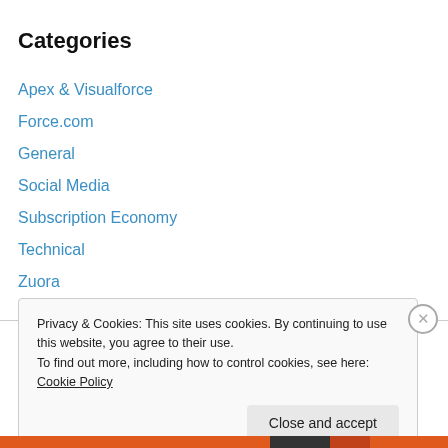Categories
Apex & Visualforce
Force.com
General
Social Media
Subscription Economy
Technical
Zuora
Apex
Privacy & Cookies: This site uses cookies. By continuing to use this website, you agree to their use.
To find out more, including how to control cookies, see here: Cookie Policy
Close and accept